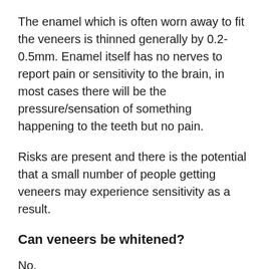The enamel which is often worn away to fit the veneers is thinned generally by 0.2-0.5mm. Enamel itself has no nerves to report pain or sensitivity to the brain, in most cases there will be the pressure/sensation of something happening to the teeth but no pain.
Risks are present and there is the potential that a small number of people getting veneers may experience sensitivity as a result.
Can veneers be whitened?
No.
The materials from which they are made will not react with the chemicals that would be